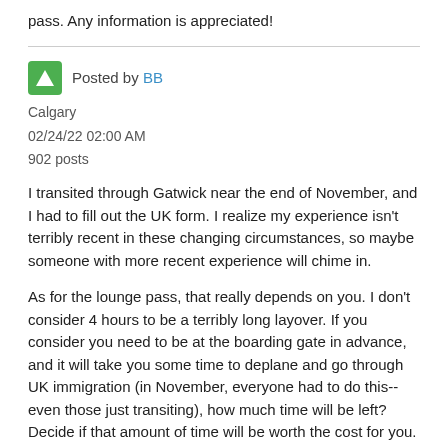pass. Any information is appreciated!
Posted by BB
Calgary
02/24/22 02:00 AM
902 posts
I transited through Gatwick near the end of November, and I had to fill out the UK form. I realize my experience isn't terribly recent in these changing circumstances, so maybe someone with more recent experience will chime in.
As for the lounge pass, that really depends on you. I don't consider 4 hours to be a terribly long layover. If you consider you need to be at the boarding gate in advance, and it will take you some time to deplane and go through UK immigration (in November, everyone had to do this--even those just transiting), how much time will be left? Decide if that amount of time will be worth the cost for you.